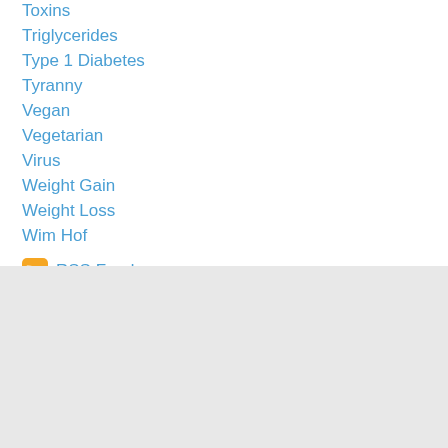Toxins
Triglycerides
Type 1 Diabetes
Tyranny
Vegan
Vegetarian
Virus
Weight Gain
Weight Loss
Wim Hof
RSS Feed